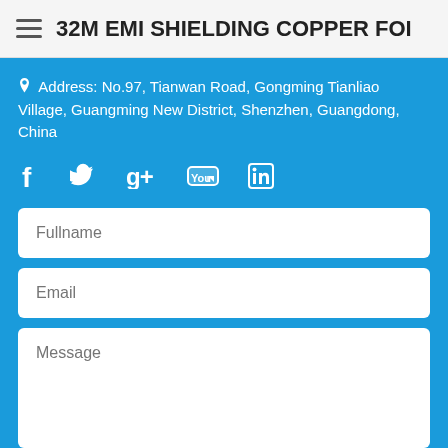32M EMI SHIELDING COPPER FOI...
Address: No.97, Tianwan Road, Gongming Tianliao Village, Guangming New District, Shenzhen, Guangdong, China
[Figure (infographic): Social media icons: Facebook, Twitter, Google+, YouTube, LinkedIn]
Fullname
Email
Message
Submit